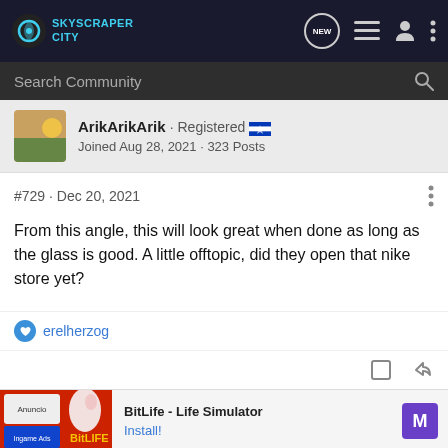SkyscraperCity
Search Community
ArikArikArik · Registered · Joined Aug 28, 2021 · 323 Posts
#729 · Dec 20, 2021
From this angle, this will look great when done as long as the glass is good. A little offtopic, did they open that nike store yet?
erelherzog
BitLife - Life Simulator
Install!